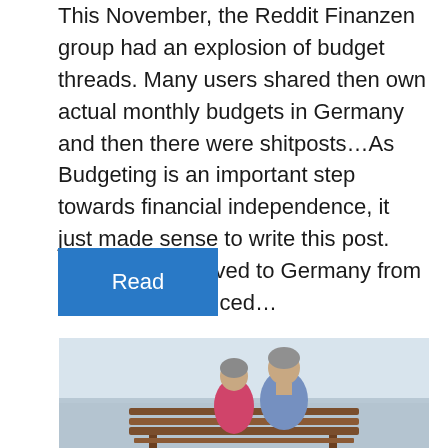This November, the Reddit Finanzen group had an explosion of budget threads. Many users shared then own actual monthly budgets in Germany and then there were shitposts... As Budgeting is an important step towards financial independence, it just made sense to write this post. Even since I moved to Germany from India, I have noticed...
Read
[Figure (photo): Two elderly people, a woman in a pink jacket and a man in a light blue shirt, seen from behind sitting on a wooden bench looking out over water/sea, with a light grey sky in the background.]